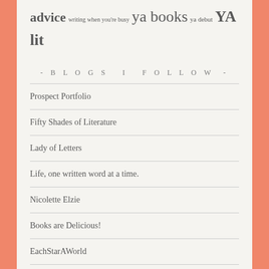advice writing when you're busy ya books ya debut YA lit
- BLOGS I FOLLOW -
Prospect Portfolio
Fifty Shades of Literature
Lady of Letters
Life, one written word at a time.
Nicolette Elzie
Books are Delicious!
EachStarAWorld